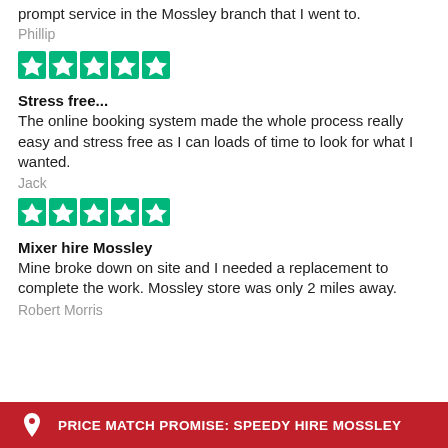prompt service in the Mossley branch that I went to.
Phillip
[Figure (other): Five green Trustpilot stars rating]
Stress free...
The online booking system made the whole process really easy and stress free as I can loads of time to look for what I wanted.
Jack
[Figure (other): Five green Trustpilot stars rating]
Mixer hire Mossley
Mine broke down on site and I needed a replacement to complete the work. Mossley store was only 2 miles away.
Robert Morris
PRICE MATCH PROMISE: SPEEDY HIRE MOSSLEY